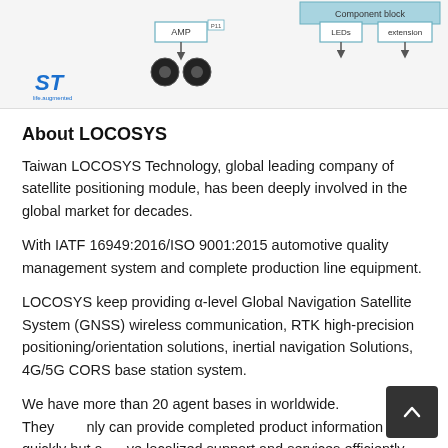[Figure (schematic): Partial engineering block diagram showing AMP block with speaker outputs, extension and LEDs blocks with downward arrows, and a blue block at top right. ST Microelectronics logo visible at bottom left of diagram.]
About LOCOSYS
Taiwan LOCOSYS Technology, global leading company of satellite positioning module, has been deeply involved in the global market for decades.
With IATF 16949:2016/ISO 9001:2015 automotive quality management system and complete production line equipment.
LOCOSYS keep providing α-level Global Navigation Satellite System (GNSS) wireless communication, RTK high-precision positioning/orientation solutions, inertial navigation Solutions, 4G/5G CORS base station system.
We have more than 20 agent bases in worldwide. They not only can provide completed product information quickly but also give localized support and services efficiently.